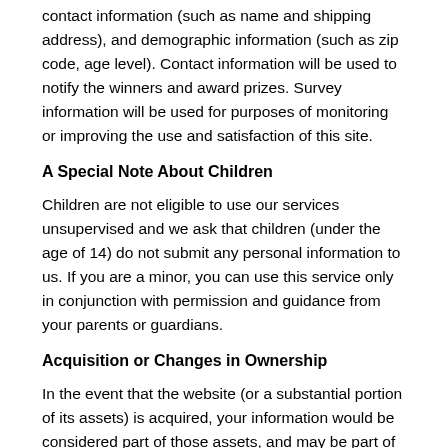contact information (such as name and shipping address), and demographic information (such as zip code, age level). Contact information will be used to notify the winners and award prizes. Survey information will be used for purposes of monitoring or improving the use and satisfaction of this site.
A Special Note About Children
Children are not eligible to use our services unsupervised and we ask that children (under the age of 14) do not submit any personal information to us. If you are a minor, you can use this service only in conjunction with permission and guidance from your parents or guardians.
Acquisition or Changes in Ownership
In the event that the website (or a substantial portion of its assets) is acquired, your information would be considered part of those assets, and may be part of